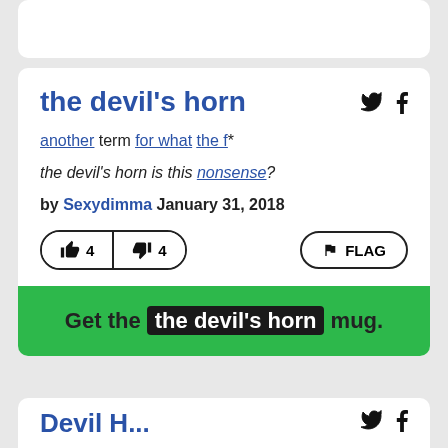the devil's horn
another term for what the f*
the devil's horn is this nonsense?
by Sexydimma January 31, 2018
👍 4  👎 4  FLAG
Get the the devil's horn mug.
Devil H...